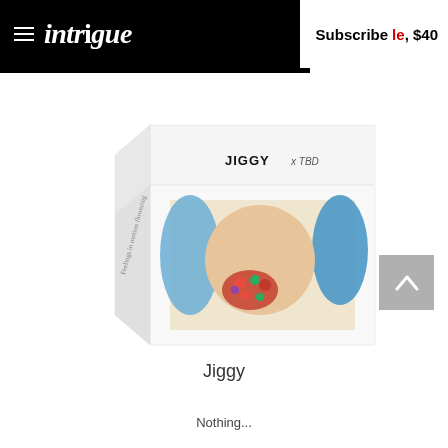≡ intrigue   Subscribe le, $40
[Figure (photo): A white puzzle box labeled 'JIGGY x TBD' on top, with an artistic image on the front panel showing a body with blue fabric and red flowers, and script text on the side.]
Jiggy
Nothing...